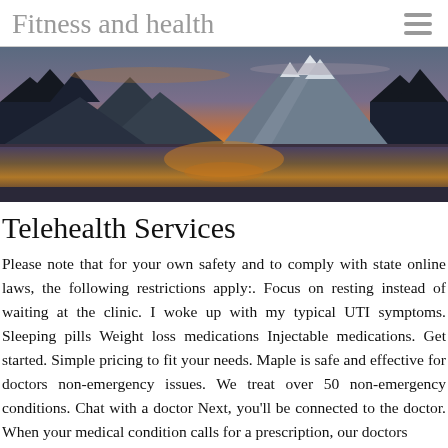Fitness and health
[Figure (photo): Panoramic mountain landscape at sunset with snow-capped peaks reflected in a calm lake, dramatic orange and purple sky]
Telehealth Services
Please note that for your own safety and to comply with state online laws, the following restrictions apply:. Focus on resting instead of waiting at the clinic. I woke up with my typical UTI symptoms. Sleeping pills Weight loss medications Injectable medications. Get started. Simple pricing to fit your needs. Maple is safe and effective for doctors non-emergency issues. We treat over 50 non-emergency conditions. Chat with a doctor Next, you'll be connected to the doctor. When your medical condition calls for a prescription, our doctors